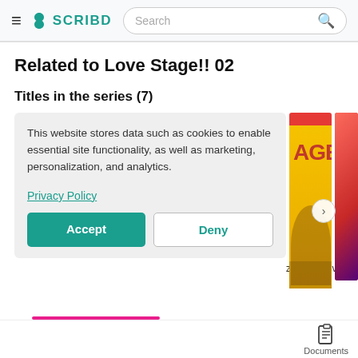SCRIBD
Related to Love Stage!! 02
Titles in the series (7)
This website stores data such as cookies to enable essential site functionality, as well as marketing, personalization, and analytics.
Privacy Policy
Accept
Deny
[Figure (illustration): Two manga book covers partially visible on the right side]
ze!! 03   Love
Documents